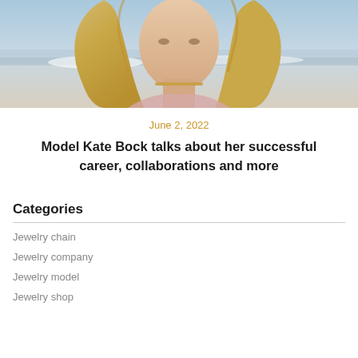[Figure (photo): Portrait photo of a blonde woman at a beach, wearing a pink top with a choker necklace, sky and ocean visible in background]
June 2, 2022
Model Kate Bock talks about her successful career, collaborations and more
Categories
Jewelry chain
Jewelry company
Jewelry model
Jewelry shop